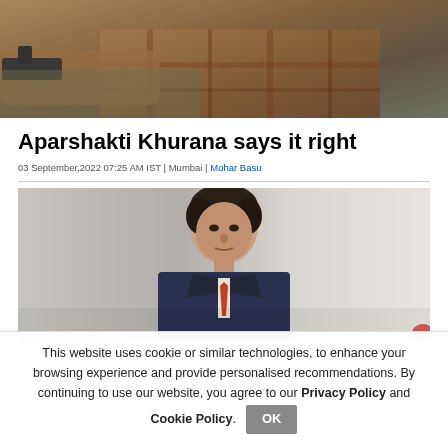[Figure (photo): Person in plaid shirt pointing a gun toward the camera, blurred foreground]
Aparshakti Khurana says it right
03 September,2022 07:25 AM IST | Mumbai | Mohar Basu
[Figure (photo): Portrait photo of a middle-aged man in a dark suit with an orange tie, against a grey background]
This website uses cookie or similar technologies, to enhance your browsing experience and provide personalised recommendations. By continuing to use our website, you agree to our Privacy Policy and Cookie Policy.